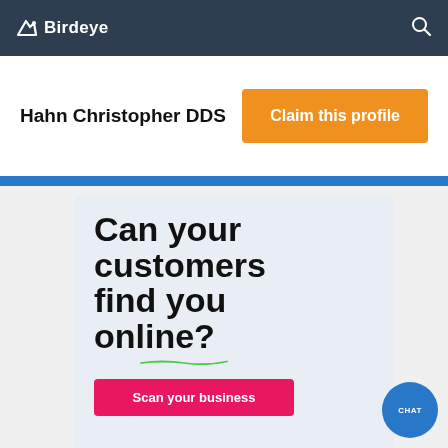Birdeye
Hahn Christopher DDS
Claim this profile
[Figure (infographic): Birdeye advertisement banner showing bold text 'Can your customers find you online?' with a green underline stroke graphic and a pink 'Scan your business' button below.]